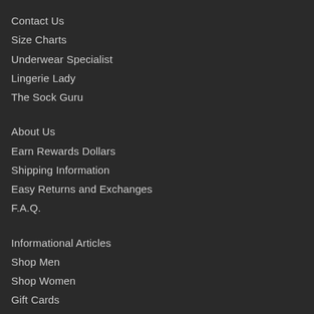Contact Us
Size Charts
Underwear Specialist
Lingerie Lady
The Sock Guru
About Us
Earn Rewards Dollars
Shipping Information
Easy Returns and Exchanges
F.A.Q.
Informational Articles
Shop Men
Shop Women
Gift Cards
Our Affiliate Program